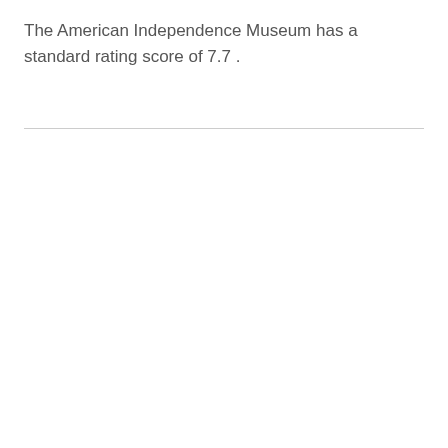The American Independence Museum has a standard rating score of 7.7 .